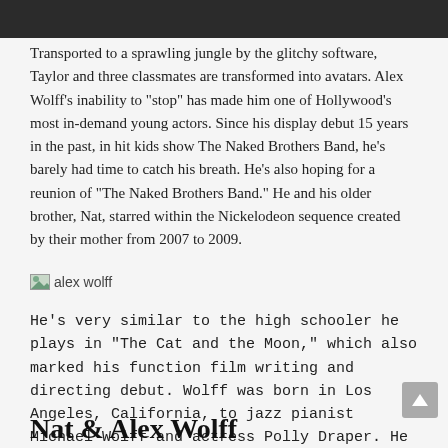Transported to a sprawling jungle by the glitchy software, Taylor and three classmates are transformed into avatars. Alex Wolff's inability to "stop" has made him one of Hollywood's most in-demand young actors. Since his display debut 15 years in the past, in hit kids show The Naked Brothers Band, he's barely had time to catch his breath. He's also hoping for a reunion of "The Naked Brothers Band." He and his older brother, Nat, starred within the Nickelodeon sequence created by their mother from 2007 to 2009.
[Figure (photo): alex wolff image placeholder]
He's very similar to the high schooler he plays in "The Cat and the Moon," which also marked his function film writing and directing debut. Wolff was born in Los Angeles, California, to jazz pianist Michael Wolff and actress Polly Draper. He is the older brother to actor/musician and singer-songwriter Alex Wolff.
Nat & Alex Wolff